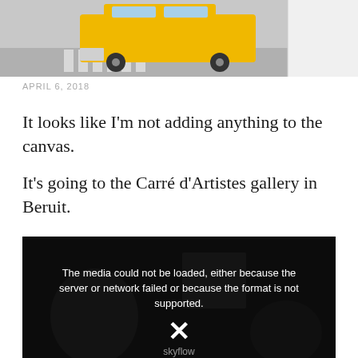[Figure (photo): Top portion of a painting showing a yellow taxi cab on a city street, partially cropped]
APRIL 6, 2018
It looks like I'm not adding anything to the canvas.
It's going to the Carré d'Artistes gallery in Beruit.
[Figure (screenshot): Video player showing error message: The media could not be loaded, either because the server or network failed or because the format is not supported. Shows an X icon and skyflow watermark. Background shows a dark studio scene.]